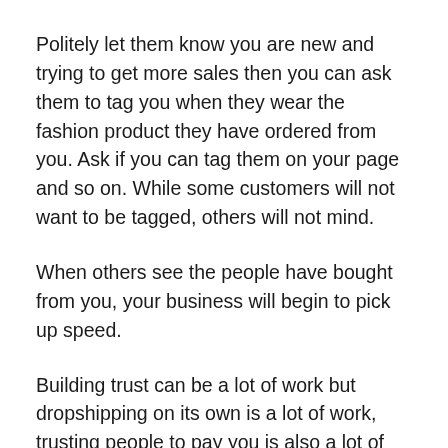Politely let them know you are new and trying to get more sales then you can ask them to tag you when they wear the fashion product they have ordered from you. Ask if you can tag them on your page and so on. While some customers will not want to be tagged, others will not mind.
When others see the people have bought from you, your business will begin to pick up speed.
Building trust can be a lot of work but dropshipping on its own is a lot of work, trusting people to pay you is also a lot of work but you have to put in that work if you want to be successful.
Consistency and hard work pay. Before you know it, you might become a manufacturer or store owner from your